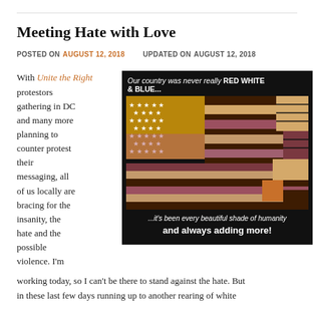Meeting Hate with Love
POSTED ON AUGUST 12, 2018    UPDATED ON AUGUST 12, 2018
With Unite the Right protestors gathering in DC and many more planning to counter protest their messaging, all of us locally are bracing for the insanity, the hate and the possible violence. I'm working today, so I can't be there to stand against the hate. But in these last few days running up to another rearing of white
[Figure (illustration): Illustration of an American flag reimagined with shades of brown, tan, dark brown, and mauve/pink instead of red, white, and blue. The flag has stars on a brown/orange canton and horizontal stripes in earth tones. Text overlay reads: 'Our country was never really RED WHITE & BLUE... ...it's been every beautiful shade of humanity and always adding more!']